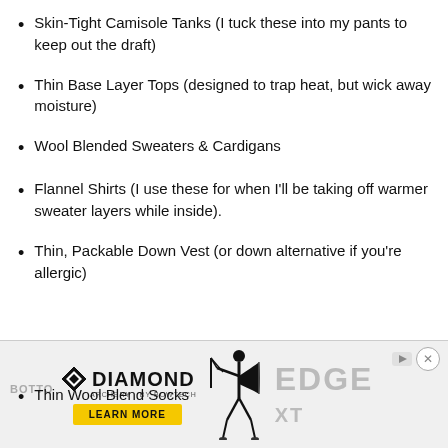Skin-Tight Camisole Tanks (I tuck these into my pants to keep out the draft)
Thin Base Layer Tops (designed to trap heat, but wick away moisture)
Wool Blended Sweaters & Cardigans
Flannel Shirts (I use these for when I'll be taking off warmer sweater layers while inside).
Thin, Packable Down Vest (or down alternative if you're allergic)
[Figure (infographic): Advertisement banner for Diamond Archery Edge XT bow. Contains Diamond Archery logo with diamond icon, 'LEARN MORE' yellow button, silhouette of archer with compound bow, and 'EDGE XT' text in grey. Has close button (X) and playback icon in top right.]
Thin Wool Blend Socks